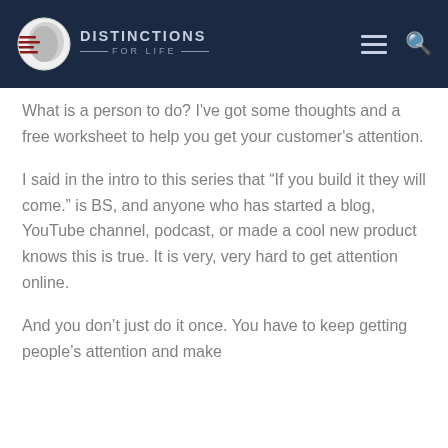[Figure (logo): Distinctions For Life logo with globe/hand icon and text]
What is a person to do? I've got some thoughts and a free worksheet to help you get your customer's attention.
I said in the intro to this series that “If you build it they will come.” is BS, and anyone who has started a blog, YouTube channel, podcast, or made a cool new product knows this is true. It is very, very hard to get attention online.
And you don’t just do it once. You have to keep getting people’s attention and make